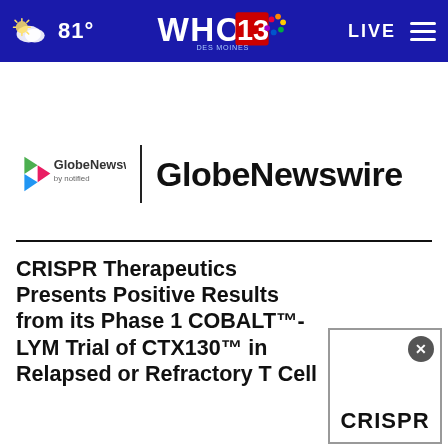81° WHO 13 DES MOINES LIVE
[Figure (logo): GlobeNewswire by notified logo with colorful arrow icon and text 'GlobeNewswire' in large bold font]
CRISPR Therapeutics Presents Positive Results from its Phase 1 COBALT™-LYM Trial of CTX130™ in Relapsed or Refractory T Cell
[Figure (screenshot): Partial CRISPR advertisement box with close button and 'CRISPR' text visible]